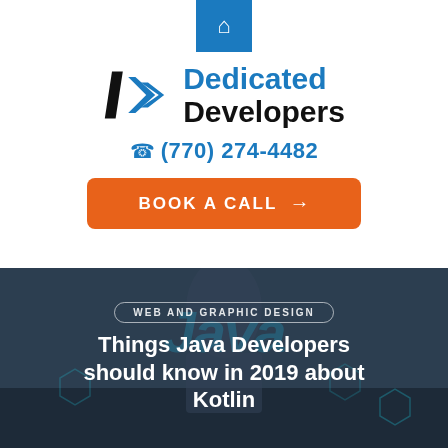[Figure (logo): Blue home icon button at top center]
[Figure (logo): Dedicated Developers logo with angular arrows and company name]
☎ (770) 274-4482
BOOK A CALL →
[Figure (photo): Dark blurred background with person at keyboard and technology icons]
WEB AND GRAPHIC DESIGN
Things Java Developers should know in 2019 about Kotlin